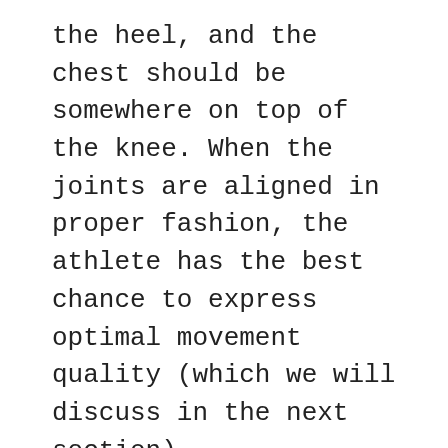the heel, and the chest should be somewhere on top of the knee. When the joints are aligned in proper fashion, the athlete has the best chance to express optimal movement quality (which we will discuss in the next section).
In order to achieve these balanced positions, both athlete and coach must first understand what correct positions look like throughout the throw. These positions depend somewhat on each